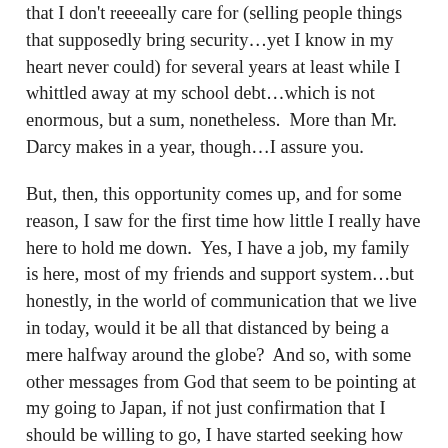that I don't reeeeally care for (selling people things that supposedly bring security…yet I know in my heart never could) for several years at least while I whittled away at my school debt…which is not enormous, but a sum, nonetheless.  More than Mr. Darcy makes in a year, though…I assure you.

But, then, this opportunity comes up, and for some reason, I saw for the first time how little I really have here to hold me down.  Yes, I have a job, my family is here, most of my friends and support system…but honestly, in the world of communication that we live in today, would it be all that distanced by being a mere halfway around the globe?  And so, with some other messages from God that seem to be pointing at my going to Japan, if not just confirmation that I should be willing to go, I have started seeking how to liquidate my life here in the States as much a possible.